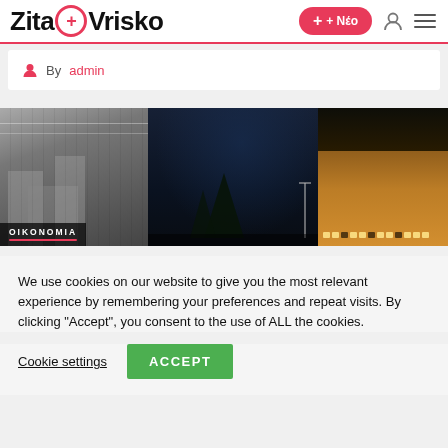ZitaOVrisko + Νέο
By admin
[Figure (photo): Wide panoramic banner image combining black-and-white urban buildings on the left, a dark night city scene in the middle with silhouetted trees, and a warmly lit neoclassical building on the right. A label 'OIKONOMIA' with a red underline appears in the lower-left corner.]
We use cookies on our website to give you the most relevant experience by remembering your preferences and repeat visits. By clicking “Accept”, you consent to the use of ALL the cookies.
Cookie settings
ACCEPT